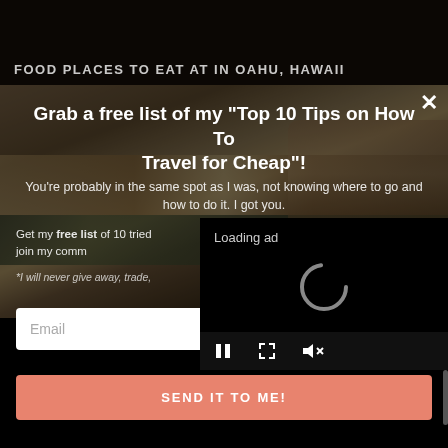[Figure (photo): Background photo of water/rocks scene with dark overlay at top. Behind a modal popup overlay.]
FOOD PLACES TO EAT AT IN OAHU, HAWAII
Grab a free list of my "Top 10 Tips on How To Travel for Cheap"!
You're probably in the same spot as I was, not knowing where to go and how to do it. I got you.
Get my free list of 10 tried … join my comm…
*I will never give away, trade, …
[Figure (screenshot): Video player ad panel showing 'Loading ad' text and a spinner/loading indicator with video controls (pause, fullscreen, mute) at bottom.]
Email
SEND IT TO ME!